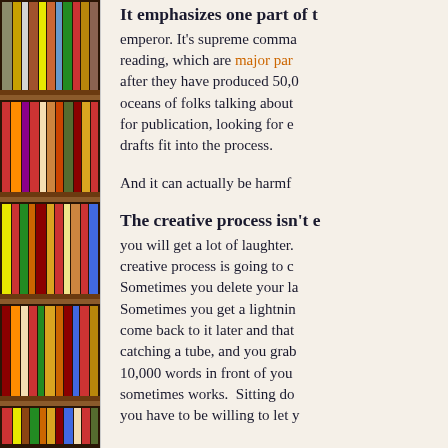[Figure (photo): Photograph of colorful books on wooden bookshelves, stacked vertically on the left side of the page]
It emphasizes one part of t…
emperor. It's supreme comma… reading, which are major par… after they have produced 50,0… oceans of folks talking about … for publication, looking for e… drafts fit into the process.
And it can actually be harmf…
The creative process isn't e…
you will get a lot of laughter. … creative process is going to c… Sometimes you delete your la… Sometimes you get a lightnin… come back to it later and that … catching a tube, and you grab … 10,000 words in front of you … sometimes works.  Sitting do… you have to be willing to let y…